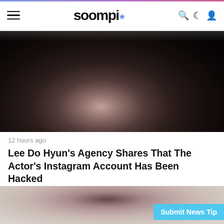soompi
[Figure (photo): Blurred dark photograph, partially visible, cropped at top]
12 hours ago
Lee Do Hyun's Agency Shares That The Actor's Instagram Account Has Been Hacked
[Figure (photo): Blurred light-toned photograph, partially visible, cropped at bottom]
Submit News Tip